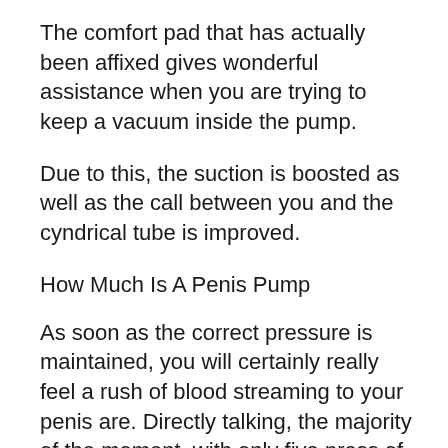The comfort pad that has actually been affixed gives wonderful assistance when you are trying to keep a vacuum inside the pump.
Due to this, the suction is boosted as well as the call between you and the cyndrical tube is improved.
How Much Is A Penis Pump
As soon as the correct pressure is maintained, you will certainly really feel a rush of blood streaming to your penis are. Directly talking, the majority of the moment, with only five press of the handball, proper stress is kept.